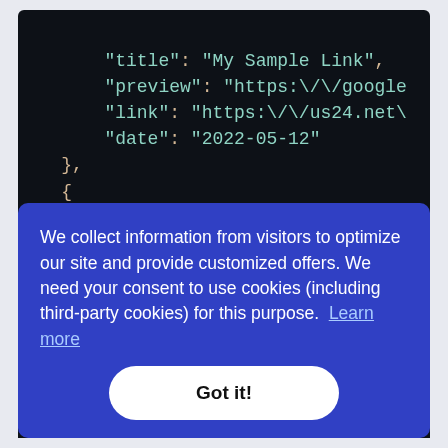[Figure (screenshot): Dark-themed code editor screenshot showing JSON snippet with fields: title 'My Sample Link', preview 'https://google...', link 'https://us24.net\...', date '2022-05-12', then a new object with type 'bio', id 1, title 'My Sample Bio', preview 'https://us24.n...']
We collect information from visitors to optimize our site and provide customized offers. We need your consent to use cookies (including third-party cookies) for this purpose. Learn more
Got it!